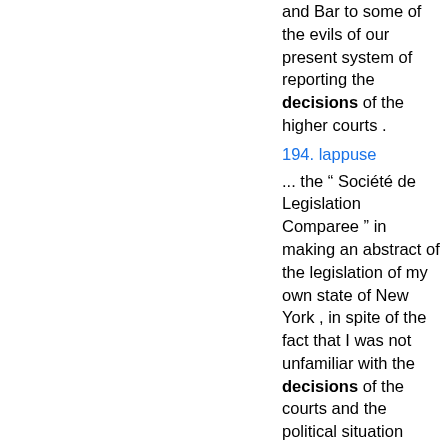and Bar to some of the evils of our present system of reporting the decisions of the higher courts .
194. lappuse
... the “ Société de Legislation Comparee ” in making an abstract of the legislation of my own state of New York , in spite of the fact that I was not unfamiliar with the decisions of the courts and the political situation there ; and I ...
217. lappuse
Its judgments are final , except where the decision conflicts with a previous decision of the Supreme Court , or of another District Court of Appeals , whether the ...